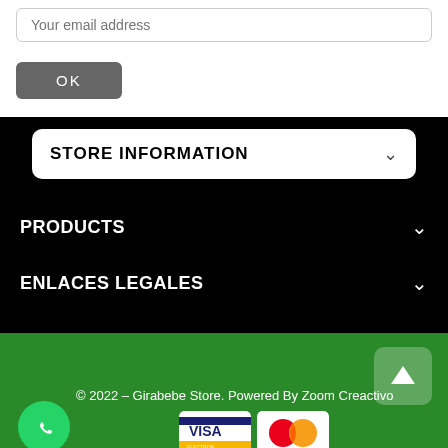[Figure (screenshot): Email input field with placeholder 'Your email address']
[Figure (screenshot): OK button (dark grey, rounded)]
STORE INFORMATION
PRODUCTS
ENLACES LEGALES
© 2022 – Girabebe Store. Powered By Zoom Creactivo
[Figure (logo): WhatsApp circular green button icon]
[Figure (logo): VISA Electron and MasterCard payment icons]
[Figure (other): Scroll to top button arrow up]